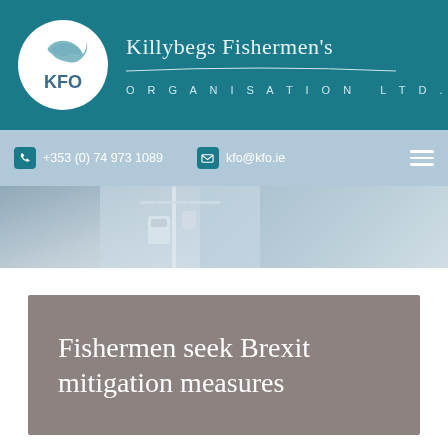[Figure (logo): KFO logo - oval with fish design and KFO text, white background]
Killybegs Fishermen's
ORGANISATION LTD.
+353 (0) 74 973 1089    kfo@kfo.ie
[Figure (photo): Partial view of fishing boat mast and equipment against sky]
Fishermen seek Brexit mitigation measures